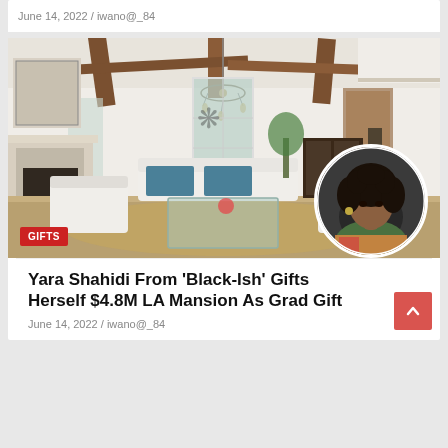June 14, 2022 / iwano@_84
[Figure (photo): Interior photo of a spacious luxury living room with white walls, exposed wooden ceiling beams, a chandelier, a decorative fireplace, white sofas and chairs, glass coffee table, and plants. A circular portrait of Yara Shahidi is overlaid in the bottom-right corner. A red 'GIFTS' badge is in the bottom-left corner.]
Yara Shahidi From ‘Black-Ish’ Gifts Herself $4.8M LA Mansion As Grad Gift
June 14, 2022 / iwano@_84